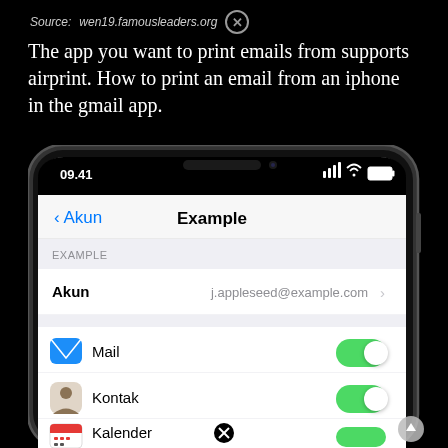Source: wen19.famousleaders.org
The app you want to print emails from supports airprint. How to print an email from an iphone in the gmail app.
[Figure (screenshot): iPhone X screenshot showing iOS Settings account page for 'Example' with Mail, Kontak, and Kalender toggles all enabled (green). Navigation bar shows back button 'Akun' and title 'Example'. Account row shows j.appleseed@example.com.]